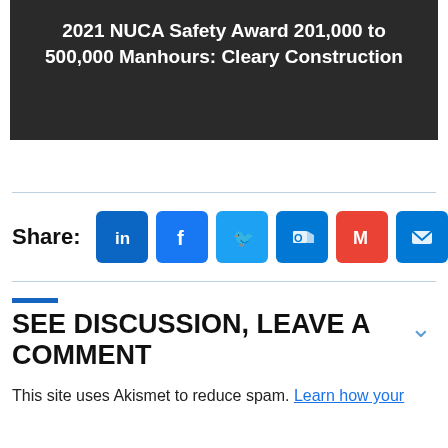[Figure (other): Dark banner image with white bold text reading '2021 NUCA Safety Award 201,000 to 500,000 Manhours: Cleary Construction']
Share:
[Figure (infographic): Row of social share icon buttons: LinkedIn, Facebook, Twitter, Outlook, Gmail, Email, WhatsApp, and a + button]
SEE DISCUSSION, LEAVE A COMMENT
This site uses Akismet to reduce spam. Learn how your comment data is processed.